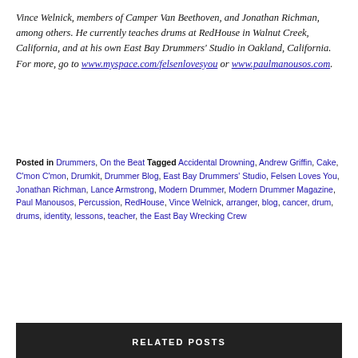Vince Welnick, members of Camper Van Beethoven, and Jonathan Richman, among others. He currently teaches drums at RedHouse in Walnut Creek, California, and at his own East Bay Drummers' Studio in Oakland, California. For more, go to www.myspace.com/felsenlovesyou or www.paulmanousos.com.
Posted in Drummers, On the Beat Tagged Accidental Drowning, Andrew Griffin, Cake, C'mon C'mon, Drumkit, Drummer Blog, East Bay Drummers' Studio, Felsen Loves You, Jonathan Richman, Lance Armstrong, Modern Drummer, Modern Drummer Magazine, Paul Manousos, Percussion, RedHouse, Vince Welnick, arranger, blog, cancer, drum, drums, identity, lessons, teacher, the East Bay Wrecking Crew
RELATED POSTS